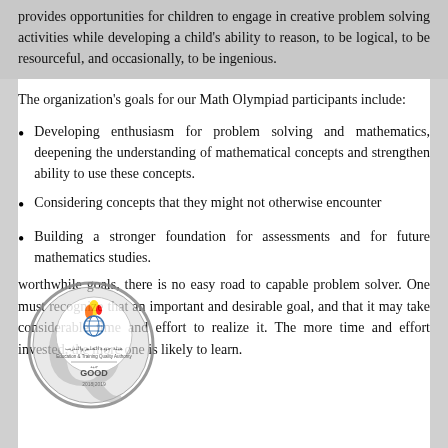provides opportunities for children to engage in creative problem solving activities while developing a child's ability to reason, to be logical, to be resourceful, and occasionally, to be ingenious.
The organization's goals for our Math Olympiad participants include:
Developing enthusiasm for problem solving and mathematics, deepening the understanding of mathematical concepts and strengthen ability to use these concepts.
Considering concepts that they might not otherwise encounter
Building a stronger foundation for assessments and for future mathematics studies.
worthwhile goals, there is no easy road to capable problem solver. One must recognize that an important and desirable goal, and that it may take considerable time and effort to realize it. The more time and effort invested, the more one is likely to learn.
[Figure (logo): Education & Training Quality Authority GOOD stamp logo with circular design, 2018|2019]